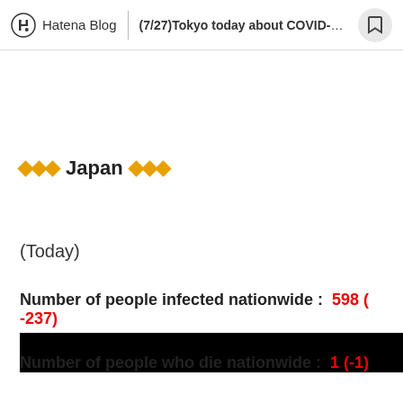Hatena Blog | (7/27)Tokyo today about COVID-19...
◆◆◆ Japan ◆◆◆
(Today)
Number of people infected nationwide :  598 ( -237)
Number of people who die nationwide :  1 ( -1)